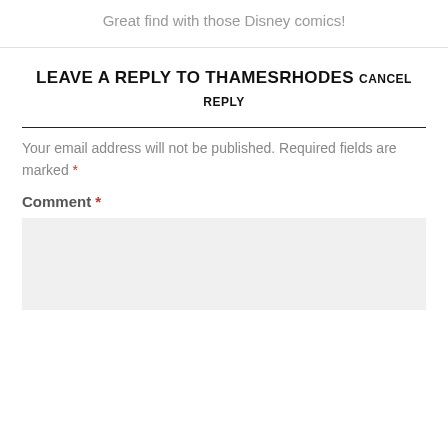Great find with those Disney comics!
LEAVE A REPLY TO THAMESRHODES CANCEL REPLY
Your email address will not be published. Required fields are marked *
Comment *